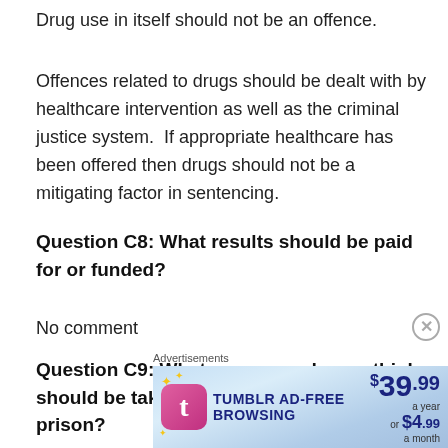Drug use in itself should not be an offence.
Offences related to drugs should be dealt with by healthcare intervention as well as the criminal justice system.  If appropriate healthcare has been offered then drugs should not be a mitigating factor in sentencing.
Question C8: What results should be paid for or funded?
No comment
Question C9: What measures do you think should be taken to reduce drug supply in prison?
[Figure (other): Tumblr Ad-Free Browsing advertisement banner showing $39.99 a year or $4.99 a month pricing]